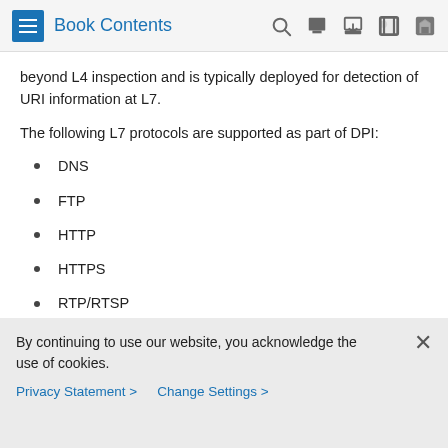Book Contents
beyond L4 inspection and is typically deployed for detection of URI information at L7.
The following L7 protocols are supported as part of DPI:
DNS
FTP
HTTP
HTTPS
RTP/RTSP
SIP
For more information, refer to the UCC 5G UPF Configuration
By continuing to use our website, you acknowledge the use of cookies.
Privacy Statement >   Change Settings >